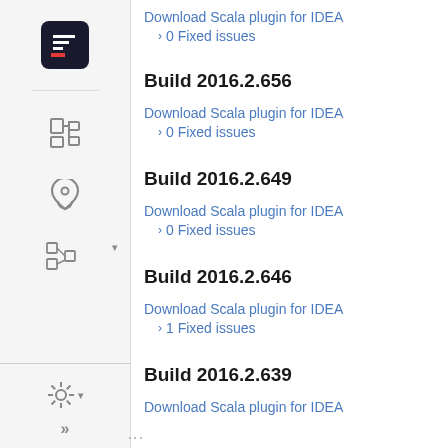Download Scala plugin for IDEA
› 0 Fixed issues
Build 2016.2.656
Download Scala plugin for IDEA
› 0 Fixed issues
Build 2016.2.649
Download Scala plugin for IDEA
› 0 Fixed issues
Build 2016.2.646
Download Scala plugin for IDEA
› 1 Fixed issues
Build 2016.2.639
Download Scala plugin for IDEA